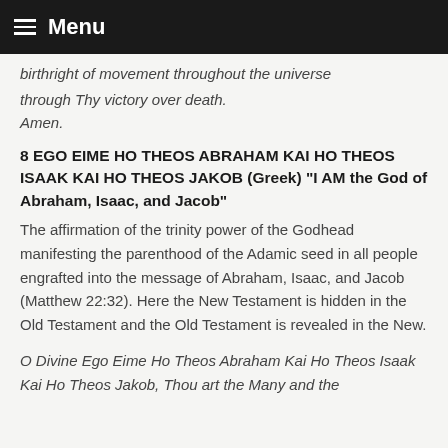Menu
birthright of movement throughout the universe through Thy victory over death.
Amen.
8 EGO EIME HO THEOS ABRAHAM KAI HO THEOS ISAAK KAI HO THEOS JAKOB (Greek) “I AM the God of Abraham, Isaac, and Jacob”
The affirmation of the trinity power of the Godhead manifesting the parenthood of the Adamic seed in all people engrafted into the message of Abraham, Isaac, and Jacob (Matthew 22:32). Here the New Testament is hidden in the Old Testament and the Old Testament is revealed in the New.
O Divine Ego Eime Ho Theos Abraham Kai Ho Theos Isaak Kai Ho Theos Jakob, Thou art the Many and the